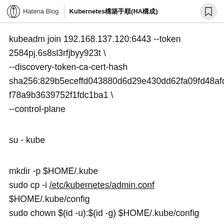Hatena Blog | Kubernetes構築手順(HA構成)
kubeadm join 192.168.137.120:6443 --token 2584pj.6s8sl3rfjbyy923t \
--discovery-token-ca-cert-hash sha256:829b5eceffd043880d6d29e430dd62fa09fd48afd6f78a9b3639752f1fdc1ba1 \
--control-plane
su - kube
mkdir -p $HOME/.kube
sudo cp -i /etc/kubernetes/admin.conf $HOME/.kube/config
sudo chown $(id -u):$(id -g) $HOME/.kube/config